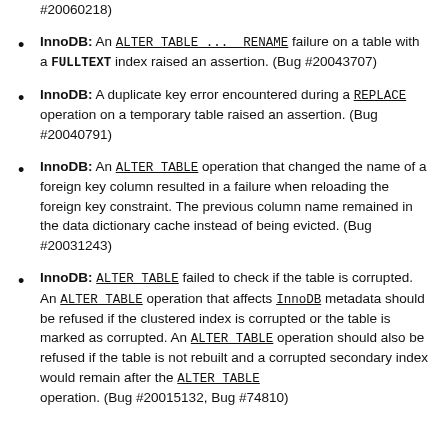#20060218)
InnoDB: An ALTER TABLE ... RENAME failure on a table with a FULLTEXT index raised an assertion. (Bug #20043707)
InnoDB: A duplicate key error encountered during a REPLACE operation on a temporary table raised an assertion. (Bug #20040791)
InnoDB: An ALTER TABLE operation that changed the name of a foreign key column resulted in a failure when reloading the foreign key constraint. The previous column name remained in the data dictionary cache instead of being evicted. (Bug #20031243)
InnoDB: ALTER TABLE failed to check if the table is corrupted. An ALTER TABLE operation that affects InnoDB metadata should be refused if the clustered index is corrupted or the table is marked as corrupted. An ALTER TABLE operation should also be refused if the table is not rebuilt and a corrupted secondary index would remain after the ALTER TABLE operation. (Bug #20015132, Bug #74810)